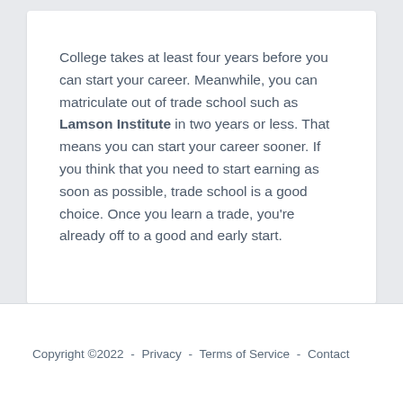College takes at least four years before you can start your career. Meanwhile, you can matriculate out of trade school such as Lamson Institute in two years or less. That means you can start your career sooner. If you think that you need to start earning as soon as possible, trade school is a good choice. Once you learn a trade, you're already off to a good and early start.
Copyright ©2022  -  Privacy  -  Terms of Service  -  Contact